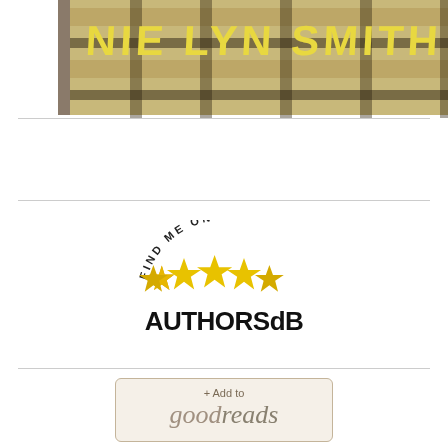[Figure (illustration): Book cover showing the bottom portion with text 'NIE LYN SMITH' in yellow letters on a decorative plaid/grid background, displayed as a 3D book with visible spine and pages.]
[Figure (logo): AUTHORSdB logo badge with text 'FIND ME ON' in arched text above five gold stars and bold text 'AUTHORSdB' below.]
[Figure (logo): Goodreads badge button with '+ Add to' above styled 'goodreads' text on a beige/cream rounded rectangle button.]